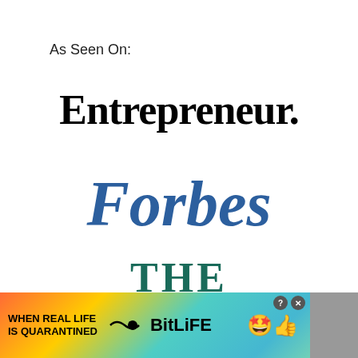As Seen On:
[Figure (logo): Entrepreneur magazine logo in bold black serif font]
[Figure (logo): Forbes magazine logo in blue italic serif font]
[Figure (logo): The Huffington Post logo in dark teal/green serif font, partially visible]
[Figure (other): BitLife advertisement banner at the bottom with rainbow gradient background, text 'WHEN REAL LIFE IS QUARANTINED' and BitLife logo with emoji icons]